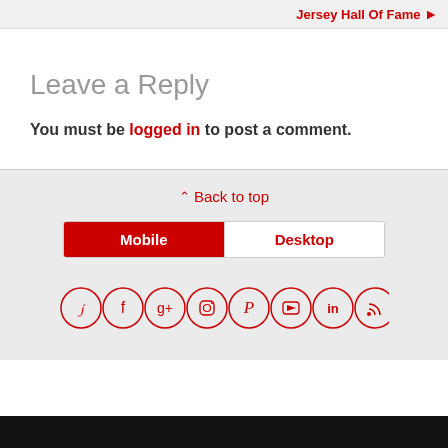Jersey Hall Of Fame ▶
Leave a Reply
You must be logged in to post a comment.
⋀ Back to top
Mobile | Desktop
[Figure (other): Social media icon links: Twitter, Facebook, Google+, Instagram, Pinterest, YouTube, LinkedIn, RSS — each in a red circle outline]